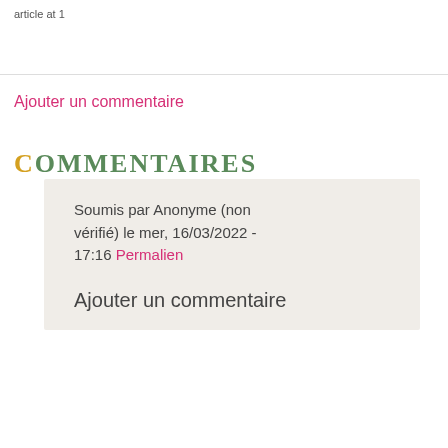article at 1
Ajouter un commentaire
COMMENTAIRES
Soumis par Anonyme (non vérifié) le mer, 16/03/2022 - 17:16 Permalien
Ajouter un commentaire